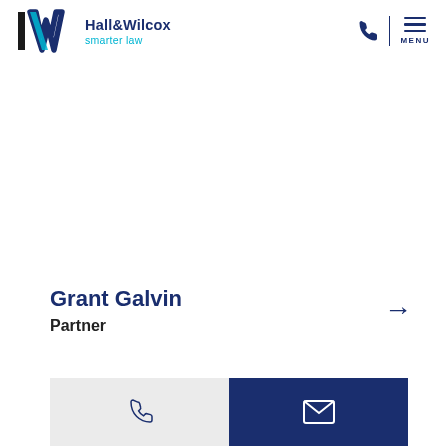[Figure (logo): Hall & Wilcox smarter law logo with stylized H and W mark in black and blue, company name in dark navy, tagline 'smarter law' in teal]
Grant Galvin
Partner